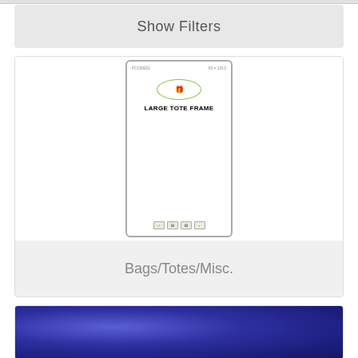Show Filters
[Figure (photo): Large Tote Frame product image - a tall narrow white rectangular frame with rounded corners, featuring a logo oval at top, bold text LARGE TOTE FRAME, and small icons at the bottom]
Bags/Totes/Misc.
[Figure (photo): Blue mottled fabric or material - deep blue with lighter blue variations, partially visible at bottom of page]